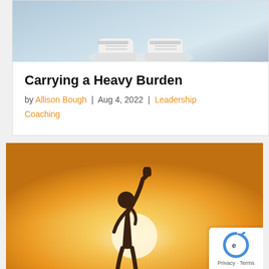[Figure (photo): Top portion of a photo showing white sneakers on a light floor]
Carrying a Heavy Burden
by Allison Bough | Aug 4, 2022 | Leadership Coaching
[Figure (photo): Person raising fist in triumph against a bright golden/orange backlit background]
Privacy · Terms